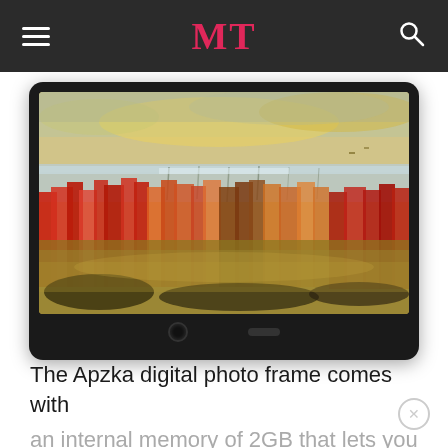MT
[Figure (photo): Digital photo frame with black border displaying a colorful landscape painting with reds, oranges, yellows, and a reflective water surface. The frame has a sensor on the bottom-left and a button in the center-bottom.]
The Apzka digital photo frame comes with an internal memory of 2GB that lets you store your intimate and precious snaps